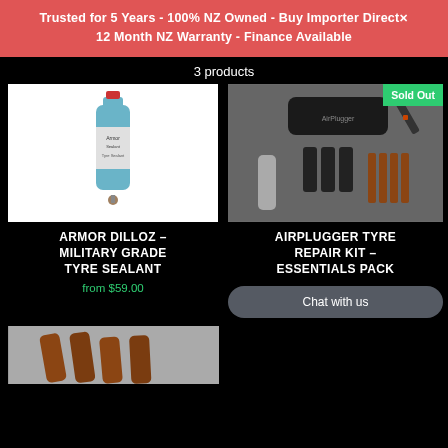Trusted for 5 Years - 100% NZ Owned - Buy Importer Direct
12 Month NZ Warranty - Finance Available
3 products
[Figure (photo): Bottle of blue tyre sealant liquid with red cap and small valve on white background]
[Figure (photo): Tyre repair kit with black case, tools, plugs and strips on grey background with Sold Out badge]
ARMOR DILLOZ – MILITARY GRADE TYRE SEALANT
from $59.00
AIRPLUGGER TYRE REPAIR KIT – ESSENTIALS PACK
Chat with us
[Figure (photo): Partial view of brown tyre repair strips on grey background]